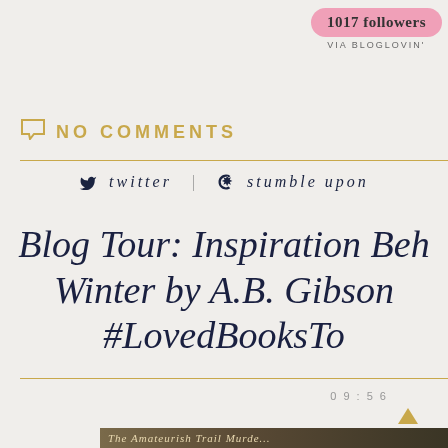1017 followers VIA BLOGLOVIN'
NO COMMENTS
twitter   stumble upon
Blog Tour: Inspiration Beh... Winter by A.B. Gibson... #LoveBooksTo...
09:56
[Figure (photo): Partial book cover image at bottom of page showing 'The Amateurish Trail Murde...' in italic script on a dark background]